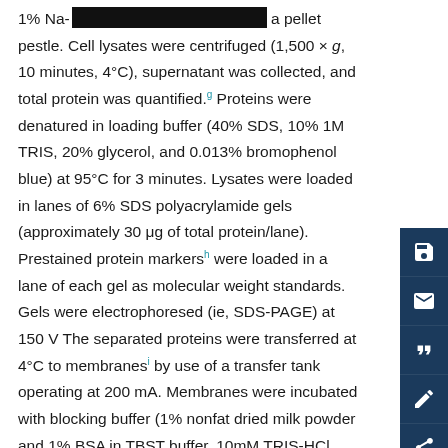1% Na-[redacted] a pellet pestle. Cell lysates were centrifuged (1,500 × g, 10 minutes, 4°C), supernatant was collected, and total protein was quantified.[g] Proteins were denatured in loading buffer (40% SDS, 10% 1M TRIS, 20% glycerol, and 0.013% bromophenol blue) at 95°C for 3 minutes. Lysates were loaded in lanes of 6% SDS polyacrylamide gels (approximately 30 μg of total protein/lane). Prestained protein markers[h] were loaded in a lane of each gel as molecular weight standards. Gels were electrophoresed (ie, SDS-PAGE) at 150 V The separated proteins were transferred at 4°C to membranes[i] by use of a transfer tank operating at 200 mA. Membranes were incubated with blocking buffer (1% nonfat dried milk powder and 1% BSA in TBST buffer, 10mM TRIS-HCl,